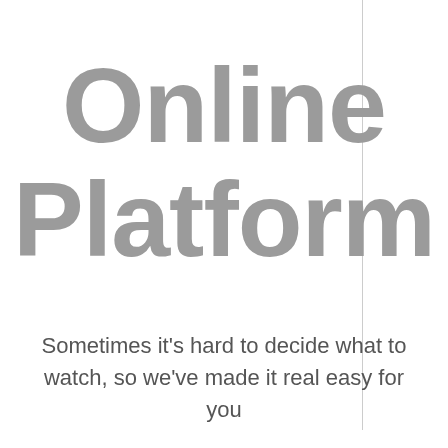Online Platform
Sometimes it's hard to decide what to watch, so we've made it real easy for you